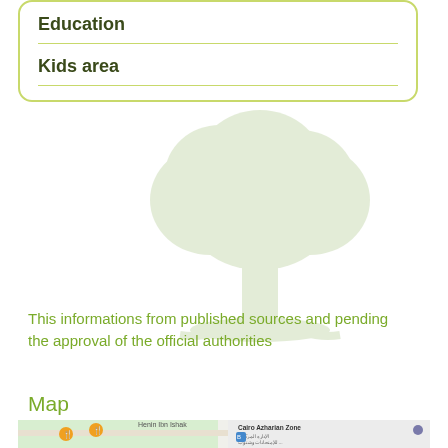Education
Kids area
This informations from published sources and pending the approval of the official authorities
Map
[Figure (map): Map showing The International Park area near Cairo Azharian Zone, with streets Henin Ibn Ishak, Omar Lotfy, Mohammed Ahmed Ibrahim, Ahmed Kamel, Ahmed El-, Ahmed Abo. Orange restaurant pins and a bus stop marker visible.]